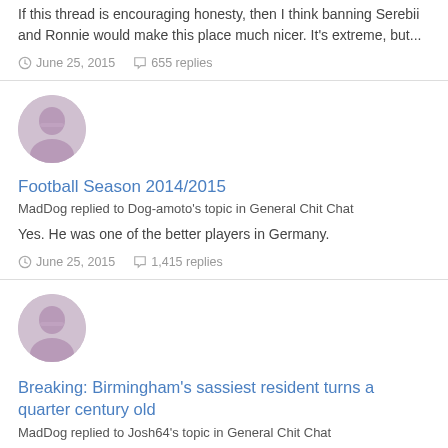If this thread is encouraging honesty, then I think banning Serebii and Ronnie would make this place much nicer. It's extreme, but...
June 25, 2015   655 replies
[Figure (illustration): Round avatar image of a person]
Football Season 2014/2015
MadDog replied to Dog-amoto's topic in General Chit Chat
Yes. He was one of the better players in Germany.
June 25, 2015   1,415 replies
[Figure (illustration): Round avatar image of a person]
Breaking: Birmingham's sassiest resident turns a quarter century old
MadDog replied to Josh64's topic in General Chit Chat
I always thought you was younger. :p Happy birthday!